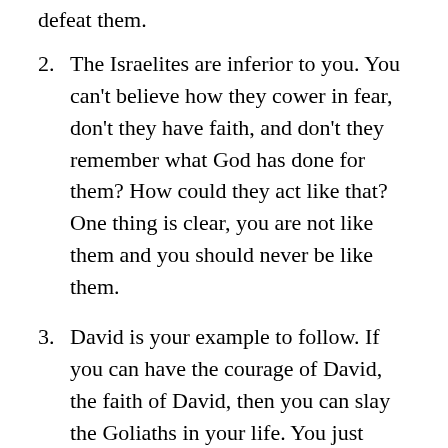defeat them.
2. The Israelites are inferior to you. You can't believe how they cower in fear, don't they have faith, and don't they remember what God has done for them? How could they act like that? One thing is clear, you are not like them and you should never be like them.
3. David is your example to follow. If you can have the courage of David, the faith of David, then you can slay the Goliaths in your life. You just need to have faith and charge forward.
When 1 Samuel 17 is read and applied in this way, the spirit of Goliath wins because the call is to look to yourself, have faith in your faith, and try harder. Goliath is the epitome of self-reliance and self-